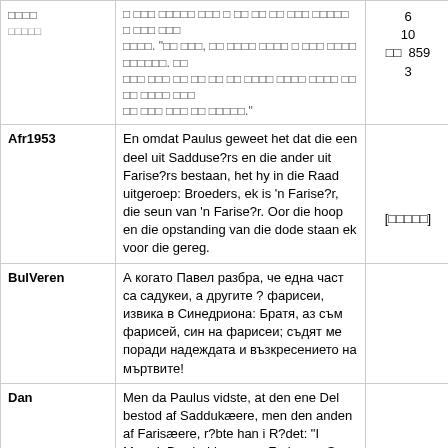| Language | Text | Ref |
| --- | --- | --- |
| [script] | [script text] | 6
10
[script] 859
3 |
| Afr1953 | En omdat Paulus geweet het dat die een deel uit Sadduse?rs en die ander uit Farise?rs bestaan, het hy in die Raad uitgeroep: Broeders, ek is 'n Farise?r, die seun van 'n Farise?r. Oor die hoop en die opstanding van die dode staan ek voor die gereg. | [script] |
| BulVeren | А когато Павел разбра, че една част са садукеи, а другите ? фарисеи, извика в Синедриона: Братя, аз съм фарисей, син на фарисеи; съдят ме поради надеждата и възкресението на мъртвите! |  |
| Dan | Men da Paulus vidste, at den ene Del bestod af Saddukæere, men den anden af Farisæere, r?bte han i R?det: "I Mænd, Brødre! jeg er en Farisæer, Søn af Farisæere, for H?b og for dødes Opstandelse er det, jeg dømmes." |  |
| [partial] | Da aber Paulus wußte, daß der eine Teil von den Sadduc?ern, der andere aber von den Pharis?... |  |